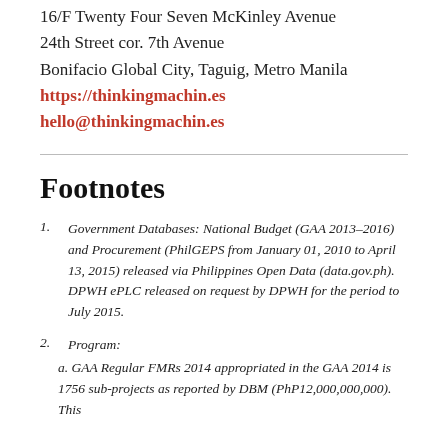16/F Twenty Four Seven McKinley Avenue
24th Street cor. 7th Avenue
Bonifacio Global City, Taguig, Metro Manila
https://thinkingmachin.es
hello@thinkingmachin.es
Footnotes
Government Databases: National Budget (GAA 2013–2016) and Procurement (PhilGEPS from January 01, 2010 to April 13, 2015) released via Philippines Open Data (data.gov.ph). DPWH ePLC released on request by DPWH for the period to July 2015.
Program:
a. GAA Regular FMRs 2014 appropriated in the GAA 2014 is 1756 sub-projects as reported by DBM (PhP12,000,000,000). This